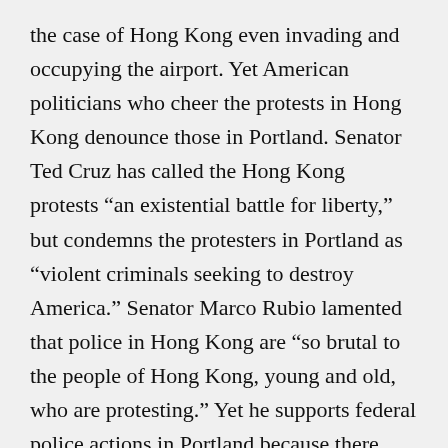the case of Hong Kong even invading and occupying the airport. Yet American politicians who cheer the protests in Hong Kong denounce those in Portland. Senator Ted Cruz has called the Hong Kong protests “an existential battle for liberty,” but condemns the protesters in Portland as “violent criminals seeking to destroy America.” Senator Marco Rubio lamented that police in Hong Kong are “so brutal to the people of Hong Kong, young and old, who are protesting.” Yet he supports federal police actions in Portland because there, “extremists are taking advantage of demonstrations to instigate violence.”
Shedding crocodile tears for victims of police repression in other countries is an old habit in Washington. These days, much outrage is directed toward the government of Nicaragua, which over the